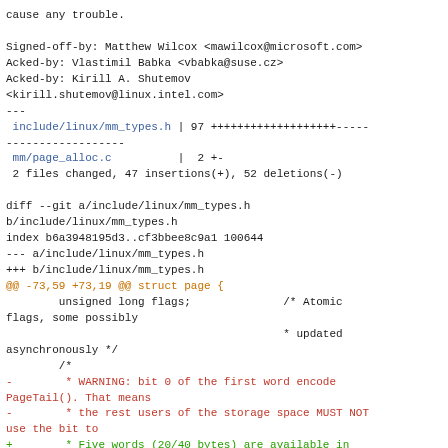cause any trouble.

Signed-off-by: Matthew Wilcox <mawilcox@microsoft.com>
Acked-by: Vlastimil Babka <vbabka@suse.cz>
Acked-by: Kirill A. Shutemov
<kirill.shutemov@linux.intel.com>
---
 include/linux/mm_types.h | 97 +++++++++++++++++++-----
-------------------
 mm/page_alloc.c          |  2 +-
 2 files changed, 47 insertions(+), 52 deletions(-)

diff --git a/include/linux/mm_types.h
b/include/linux/mm_types.h
index b6a3948195d3..cf3bbee8c9a1 100644
--- a/include/linux/mm_types.h
+++ b/include/linux/mm_types.h
@@ -73,59 +73,19 @@ struct page {
        unsigned long flags;              /* Atomic
flags, some possibly
                                          * updated
asynchronously */
        /*
-        * WARNING: bit 0 of the first word encode
PageTail(). That means
-        * the rest users of the storage space MUST NOT
use the bit to
+        * Five words (20/40 bytes) are available in
this union.
+        * WARNING: bit 0 of the first word is used for